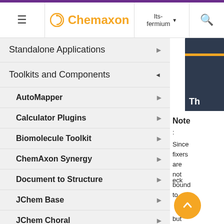Chemaxon — lts-fermium navigation menu
Standalone Applications
Toolkits and Components
AutoMapper
Calculator Plugins
Biomolecule Toolkit
ChemAxon Synergy
Document to Structure
JChem Base
JChem Choral
Note: Since fixers are not bound to check but